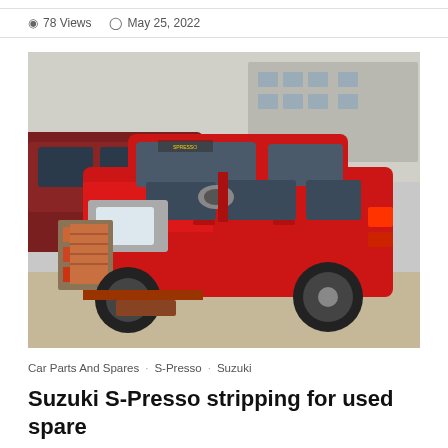78 Views   May 25, 2022
[Figure (photo): A red Suzuki S-Presso hatchback car stripped of its front bumper and front-end components, parked in a yard with other vehicles in the background.]
Car Parts And Spares   S-Presso   Suzuki
Suzuki S-Presso stripping for used spare